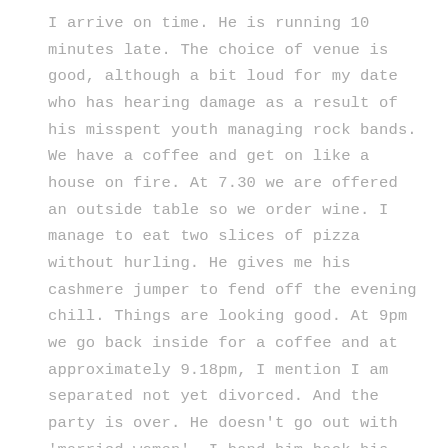I arrive on time. He is running 10 minutes late. The choice of venue is good, although a bit loud for my date who has hearing damage as a result of his misspent youth managing rock bands. We have a coffee and get on like a house on fire. At 7.30 we are offered an outside table so we order wine. I manage to eat two slices of pizza without hurling. He gives me his cashmere jumper to fend off the evening chill. Things are looking good. At 9pm we go back inside for a coffee and at approximately 9.18pm, I mention I am separated not yet divorced. And the party is over. He doesn't go out with 'married women'. I hand him back his stupid jumper and cry down the phone to my best friend on the way home.